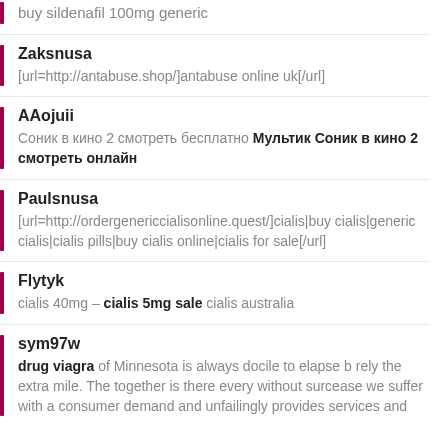buy sildenafil 100mg generic
Zaksnusa
[url=http://antabuse.shop/]antabuse online uk[/url]
AAojuii
Соник в кино 2 смотреть бесплатно Мультик Соник в кино 2 смотреть онлайн
Paulsnusa
[url=http://ordergenericcialisonline.quest/]cialis|buy cialis|generic cialis|cialis pills|buy cialis online|cialis for sale[/url]
Flytyk
cialis 40mg – cialis 5mg sale cialis australia
sym97w
drug viagra of Minnesota is always docile to elapse b rely the extra mile. The together is there every without surcease we suffer with a consumer demand and unfailingly provides services and